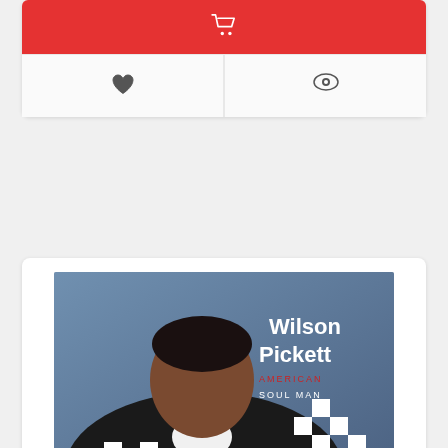[Figure (other): Red add-to-cart button with shopping cart icon]
[Figure (other): Heart (wishlist) and eye (watch) icon buttons]
[Figure (photo): Album cover photo of Wilson Pickett - American Soul Man (1987). Man in black and white checkered jacket smiling, with text Wilson Pickett American Soul Man on the cover.]
Imagem meramente ilustrativa
AMERICAN SOUL MAN
LP
WILSON PICKETT
1987